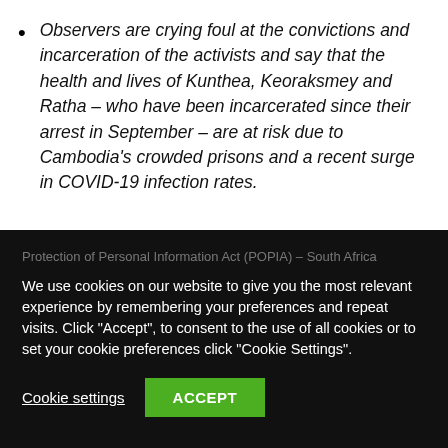Observers are crying foul at the convictions and incarceration of the activists and say that the health and lives of Kunthea, Keoraksmey and Ratha – who have been incarcerated since their arrest in September – are at risk due to Cambodia's crowded prisons and a recent surge in COVID-19 infection rates.
Protection of Personal Information Act (POPIA) – South Africa
We use cookies on our website to give you the most relevant experience by remembering your preferences and repeat visits. Click "Accept", to consent to the use of all cookies or to set your cookie preferences click "Cookie Settings".
Cookie settings
ACCEPT